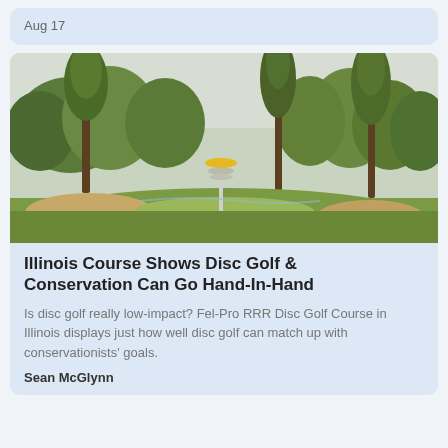Aug 17
[Figure (photo): Outdoor disc golf course in Illinois with green trees, grassy fairway, a disc golf basket with yellow top in the center, and sandy areas under trees, taken on an overcast day.]
Illinois Course Shows Disc Golf & Conservation Can Go Hand-In-Hand
Is disc golf really low-impact? Fel-Pro RRR Disc Golf Course in Illinois displays just how well disc golf can match up with conservationists' goals.
Sean McGlynn